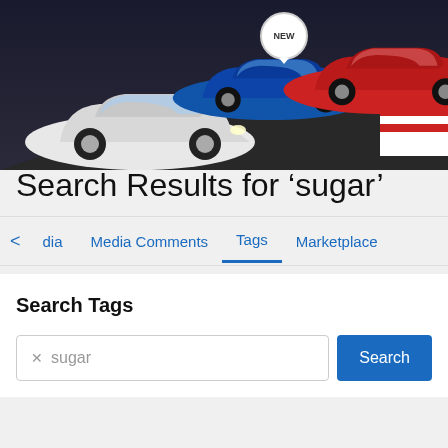[Figure (photo): Banner image showing three Acura RSX cars (white, blue, red) on a racing track with a dark background]
[Figure (logo): Club RSX logo with blue hexagonal molecule icon and CLUB RSX text in blue]
Search Community
< Search
Search Results for ‘sugar’
< dia  Media Comments  Tags  Marketplace
Search Tags
sugar
Search